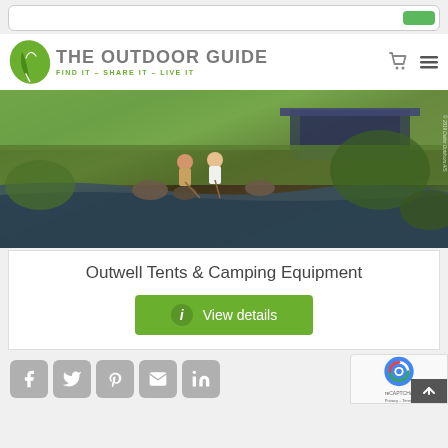The Outdoor Guide – Find It – Share It – Live It
[Figure (photo): Two children sitting by a stream fishing with sticks, with an awning/tent visible in the background on green grass. Outdoor camping scene.]
Outwell Tents & Camping Equipment
View details
[Figure (other): Social sharing buttons: Facebook, Twitter, Pinterest, Email, LinkedIn. reCAPTCHA badge and scroll-to-top arrow also visible.]